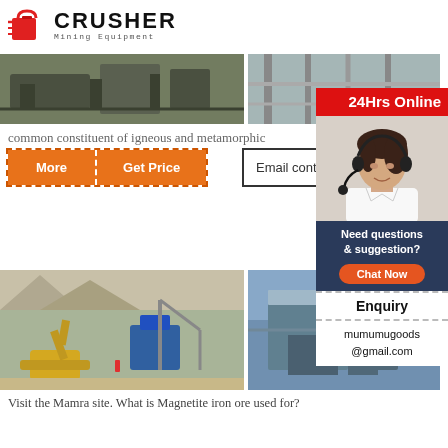[Figure (logo): Crusher Mining Equipment logo with red shopping bag icon and bold text]
[Figure (photo): Mining facility/conveyor belt equipment photo - left panel]
[Figure (photo): Mining facility structure photo - right panel]
common constituent of igneous and metamorphic
[Figure (infographic): 24Hrs Online chat widget with customer service representative photo, Chat Now button, Enquiry section, and mumumugoods@gmail.com contact]
[Figure (screenshot): More and Get Price orange buttons with dashed border, plus Email contact box]
[Figure (photo): Mining site with yellow excavator and blue equipment - left panel]
[Figure (photo): Industrial facility/structure photo - right panel]
Visit the Mamra site. What is Magnetite iron ore used for?